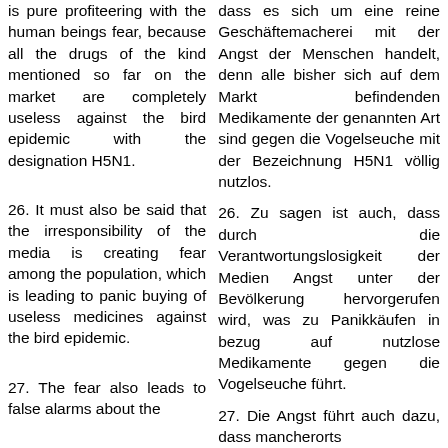is pure profiteering with the human beings fear, because all the drugs of the kind mentioned so far on the market are completely useless against the bird epidemic with the designation H5N1.
dass es sich um eine reine Geschäftemacherei mit der Angst der Menschen handelt, denn alle bisher sich auf dem Markt befindenden Medikamente der genannten Art sind gegen die Vogelseuche mit der Bezeichnung H5N1 völlig nutzlos.
26. It must also be said that the irresponsibility of the media is creating fear among the population, which is leading to panic buying of useless medicines against the bird epidemic.
26. Zu sagen ist auch, dass durch die Verantwortungslosigkeit der Medien Angst unter der Bevölkerung hervorgerufen wird, was zu Panikkäufen in bezug auf nutzlose Medikamente gegen die Vogelseuche führt.
27. The fear also leads to false alarms about the
27. Die Angst führt auch dazu, dass mancherorts